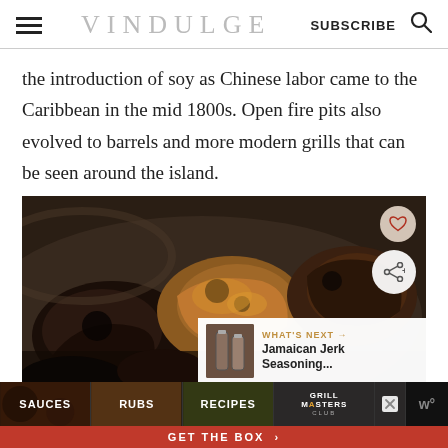VINDULGE | SUBSCRIBE
the introduction of soy as Chinese labor came to the Caribbean in the mid 1800s. Open fire pits also evolved to barrels and more modern grills that can be seen around the island.
[Figure (photo): Close-up photo of charred and grilled jerk chicken pieces on a dark plate, with a heart/favorite button and share button overlaid, and a 'What's Next: Jamaican Jerk Seasoning...' card in the lower right corner]
[Figure (infographic): Advertisement banner at the bottom showing SAUCES, RUBS, RECIPES, GRILL MASTERS CLUB sections with a red GET THE BOX button]